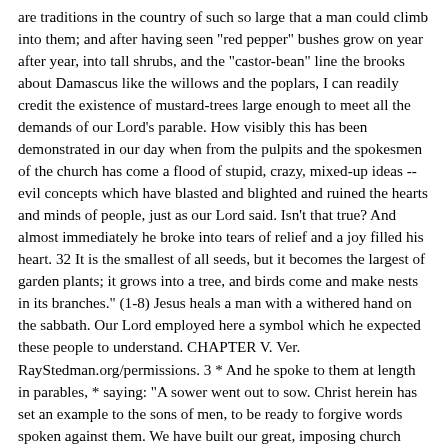are traditions in the country of such so large that a man could climb into them; and after having seen "red pepper" bushes grow on year after year, into tall shrubs, and the "castor-bean" line the brooks about Damascus like the willows and the poplars, I can readily credit the existence of mustard-trees large enough to meet all the demands of our Lord's parable. How visibly this has been demonstrated in our day when from the pulpits and the spokesmen of the church has come a flood of stupid, crazy, mixed-up ideas -- evil concepts which have blasted and blighted and ruined the hearts and minds of people, just as our Lord said. Isn't that true? And almost immediately he broke into tears of relief and a joy filled his heart. 32 It is the smallest of all seeds, but it becomes the largest of garden plants; it grows into a tree, and birds come and make nests in its branches." (1-8) Jesus heals a man with a withered hand on the sabbath. Our Lord employed here a symbol which he expected these people to understand. CHAPTER V. Ver. RayStedman.org/permissions. 3 * And he spoke to them at length in parables, * saying: "A sower went out to sow. Christ herein has set an example to the sons of men, to be ready to forgive words spoken against them. We have built our great, imposing church buildings and even in evangelical circles have been concerned with our prestige and our status in the community and our image, and have sought the patronage and the admiration of the world. What is the meaning of that? Wherever these early Christians went they never mentioned the church until after a person joined the family of God. It was a very impressive building with high gothic arches